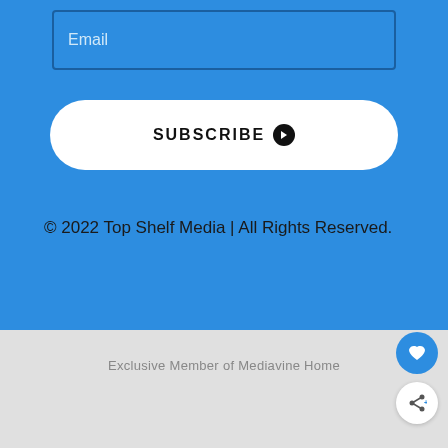Email
SUBSCRIBE ❯
© 2022 Top Shelf Media | All Rights Reserved.
Exclusive Member of Mediavine Home
Learn the signs to prevent school shootings.